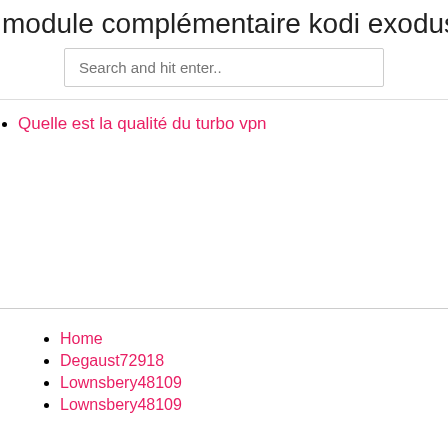module complémentaire kodi exodus
[Figure (other): Search input field with placeholder text 'Search and hit enter..']
Quelle est la qualité du turbo vpn
Home
Degaust72918
Lownsbery48109
Lownsbery48109